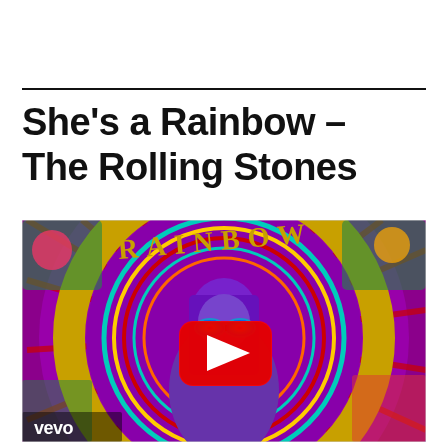She's a Rainbow – The Rolling Stones
[Figure (screenshot): YouTube video thumbnail for 'She's a Rainbow' by The Rolling Stones (Vevo). Psychedelic artwork with a woman in sunglasses centered in concentric gold and purple circles with 'RAINBOW' text, a YouTube play button overlay, and 'vevo' watermark in the lower left.]